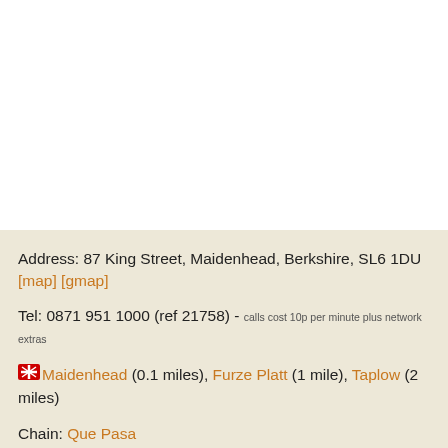Address: 87 King Street, Maidenhead, Berkshire, SL6 1DU [map] [gmap]
Tel: 0871 951 1000 (ref 21758) - calls cost 10p per minute plus network extras
Maidenhead (0.1 miles), Furze Platt (1 mile), Taplow (2 miles)
Chain: Que Pasa